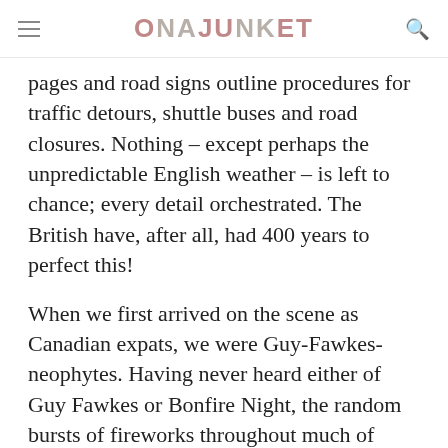ONAJUNKET
pages and road signs outline procedures for traffic detours, shuttle buses and road closures. Nothing – except perhaps the unpredictable English weather – is left to chance; every detail orchestrated. The British have, after all, had 400 years to perfect this!
When we first arrived on the scene as Canadian expats, we were Guy-Fawkes-neophytes. Having never heard either of Guy Fawkes or Bonfire Night, the random bursts of fireworks throughout much of October left us completely bewildered. But by Year Two we'd been tipped to head to Chiddingfold, in the